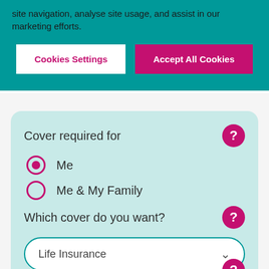site navigation, analyse site usage, and assist in our marketing efforts.
Cookies Settings
Accept All Cookies
Cover required for
Me
Me & My Family
Which cover do you want?
Life Insurance